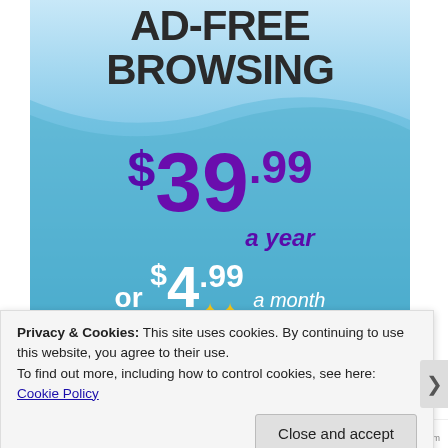[Figure (infographic): Ad banner with light blue gradient background showing 'AD-FREE BROWSING' heading and pricing: $39.99 a year or $4.99 a month plus free shipping with sparkle decorations]
Privacy & Cookies: This site uses cookies. By continuing to use this website, you agree to their use.
To find out more, including how to control cookies, see here: Cookie Policy
Close and accept